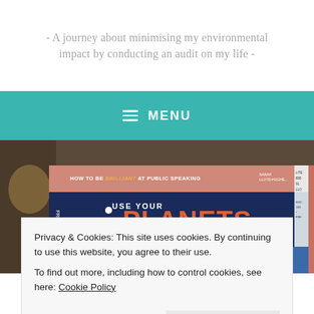- A journey about minimising my environmental impact by conducting an audit on my life -
☰ MENU
[Figure (photo): Stack of books including 'How to Be Brilliant at Public Speaking' by Sarah Lloyd-Hughes, 'Use Your Planets Wisely' by Freed, and a blue book, arranged horizontally on a surface.]
Privacy & Cookies: This site uses cookies. By continuing to use this website, you agree to their use.
To find out more, including how to control cookies, see here: Cookie Policy
Close and accept